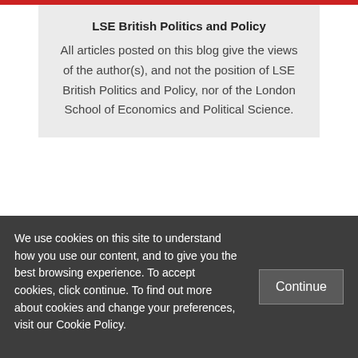LSE British Politics and Policy
All articles posted on this blog give the views of the author(s), and not the position of LSE British Politics and Policy, nor of the London School of Economics and Political Science.
Posted In: Brexit
We use cookies on this site to understand how you use our content, and to give you the best browsing experience. To accept cookies, click continue. To find out more about cookies and change your preferences, visit our Cookie Policy.